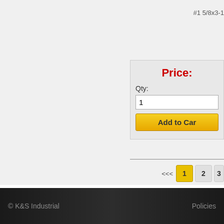#1 5/8x3-1
Price:
Qty: 1
Add to Car
<<< 1 2 3
© K&S Industrial   Policies